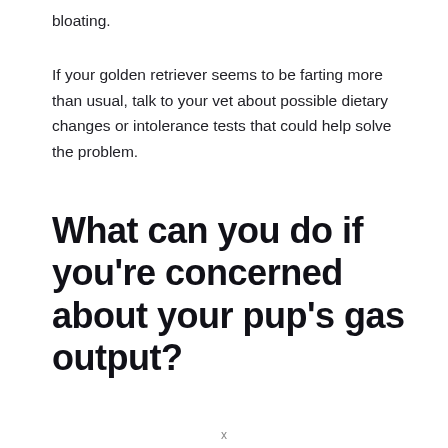bloating.
If your golden retriever seems to be farting more than usual, talk to your vet about possible dietary changes or intolerance tests that could help solve the problem.
What can you do if you’re concerned about your pup’s gas output?
x